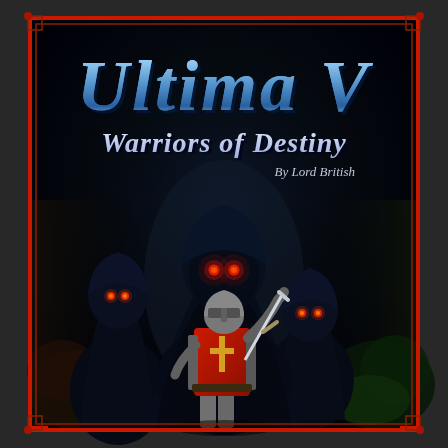[Figure (illustration): Book cover for Ultima V: Warriors of Destiny by Lord British. Dark background showing three cloaked shadowy figures with glowing red eyes looming large, and a medieval knight in red tabard with cross emblem holding a sword in the foreground. The cover has a red border with ornamental corner pieces on black background.]
Ultima V
Warriors of Destiny
By Lord British